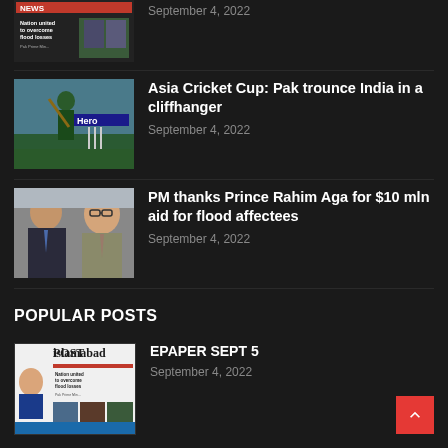[Figure (screenshot): Partial newspaper front page thumbnail showing 'Nation united to overcome flood losses' headline]
[Figure (photo): Cricket player batting, wearing green Pakistan cricket uniform, Hero sponsorship banner visible in background]
Asia Cricket Cup: Pak trounce India in a cliffhanger
September 4, 2022
[Figure (photo): Two men in formal suits, one older South Asian man on left, one Western man with glasses on right]
PM thanks Prince Rahim Aga for $10 mln aid for flood affectees
September 4, 2022
POPULAR POSTS
[Figure (screenshot): Islamabad POST newspaper front page thumbnail showing Trump image and 'Nation united to overcome flood losses' headline]
EPAPER SEPT 5
September 4, 2022